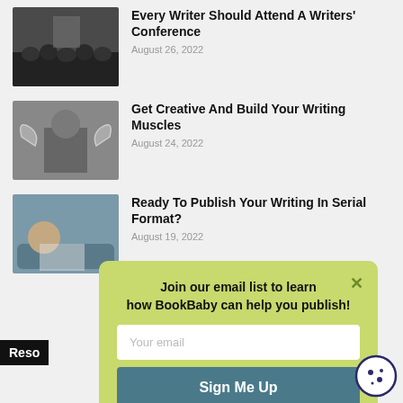Every Writer Should Attend A Writers' Conference
August 26, 2022
Get Creative And Build Your Writing Muscles
August 24, 2022
Ready To Publish Your Writing In Serial Format?
August 19, 2022
Reso
Join our email list to learn how BookBaby can help you publish!
Your email
Sign Me Up